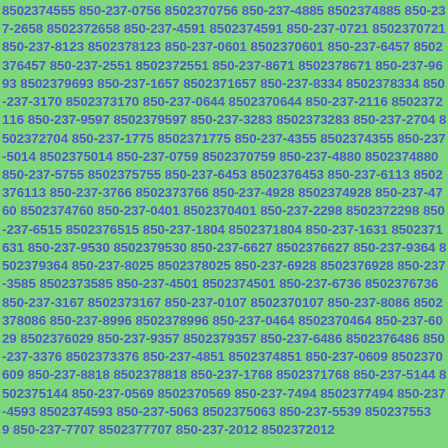8502374555 850-237-0756 8502370756 850-237-4885 8502374885 850-237-2658 8502372658 850-237-4591 8502374591 850-237-0721 8502370721 850-237-8123 8502378123 850-237-0601 8502370601 850-237-6457 8502376457 850-237-2551 8502372551 850-237-8671 8502378671 850-237-9693 8502379693 850-237-1657 8502371657 850-237-8334 8502378334 850-237-3170 8502373170 850-237-0644 8502370644 850-237-2116 8502372116 850-237-9597 8502379597 850-237-3283 8502373283 850-237-2704 8502372704 850-237-1775 8502371775 850-237-4355 8502374355 850-237-5014 8502375014 850-237-0759 8502370759 850-237-4880 8502374880 850-237-5755 8502375755 850-237-6453 8502376453 850-237-6113 8502376113 850-237-3766 8502373766 850-237-4928 8502374928 850-237-4760 8502374760 850-237-0401 8502370401 850-237-2298 8502372298 850-237-6515 8502376515 850-237-1804 8502371804 850-237-1631 8502371631 850-237-9530 8502379530 850-237-6627 8502376627 850-237-9364 8502379364 850-237-8025 8502378025 850-237-6928 8502376928 850-237-3585 8502373585 850-237-4501 8502374501 850-237-6736 8502376736 850-237-3167 8502373167 850-237-0107 8502370107 850-237-8086 8502378086 850-237-8996 8502378996 850-237-0464 8502370464 850-237-6029 8502376029 850-237-9357 8502379357 850-237-6486 8502376486 850-237-3376 8502373376 850-237-4851 8502374851 850-237-0609 8502370609 850-237-8818 8502378818 850-237-1768 8502371768 850-237-5144 8502375144 850-237-0569 8502370569 850-237-7494 8502377494 850-237-4593 8502374593 850-237-5063 8502375063 850-237-5539 8502375539 850-237-7707 8502377707 850-237-2012 8502372012